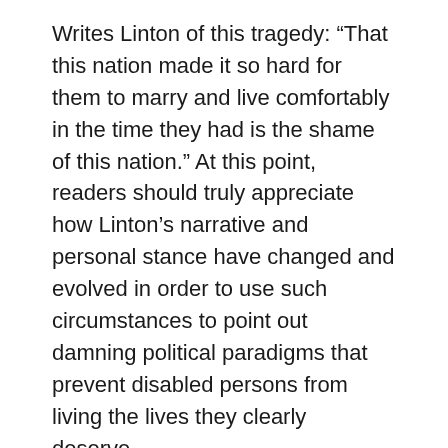Writes Linton of this tragedy: “That this nation made it so hard for them to marry and live comfortably in the time they had is the shame of this nation.” At this point, readers should truly appreciate how Linton’s narrative and personal stance have changed and evolved in order to use such circumstances to point out damning political paradigms that prevent disabled persons from living the lives they clearly deserve.
However, such a reading within a disability framework is not necessary for Linton’s story to effectively reach her audience, and perhaps this is where the true beauty of her story lies. Linton’s talent on the page enables her to have written a compelling narrative evoking important questions about humanity, including whether and why one deserves to undergo such emotional turmoil at the same time they must experience intense physical